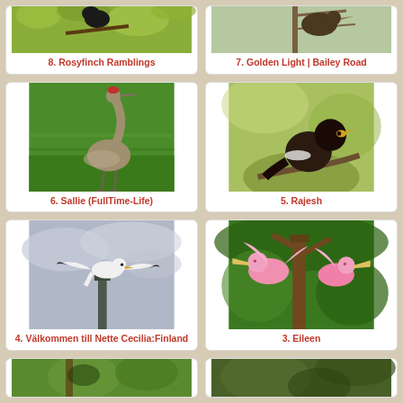[Figure (photo): Bird photo (partially cropped at top) - Rosyfinch Ramblings entry #8]
8. Rosyfinch Ramblings
[Figure (photo): Bird on branch photo (partially cropped at top) - Golden Light Bailey Road entry #7]
7. Golden Light | Bailey Road
[Figure (photo): Sandhill crane walking on grass - Sallie FullTime-Life entry #6]
6. Sallie (FullTime-Life)
[Figure (photo): Dark bird (myna) perched on branch - Rajesh entry #5]
5. Rajesh
[Figure (photo): Seagull taking off from post against grey sky - Välkommen till Nette Cecilia:Finland entry #4]
4. Välkommen till Nette Cecilia:Finland
[Figure (photo): Pink spoonbills in green foliage - Eileen entry #3]
3. Eileen
[Figure (photo): Partially visible bird photo at bottom left]
[Figure (photo): Partially visible bird photo at bottom right]